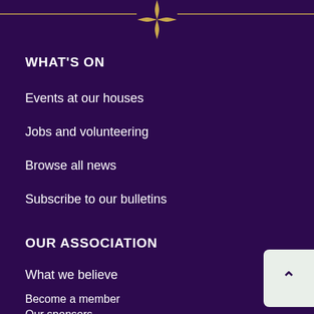[Figure (illustration): Decorative horizontal gold line with a four-pointed star/diamond ornament in the center, on a dark purple background]
WHAT'S ON
Events at our houses
Jobs and volunteering
Browse all news
Subscribe to our bulletins
OUR ASSOCIATION
What we believe
Become a member
Our sponsors